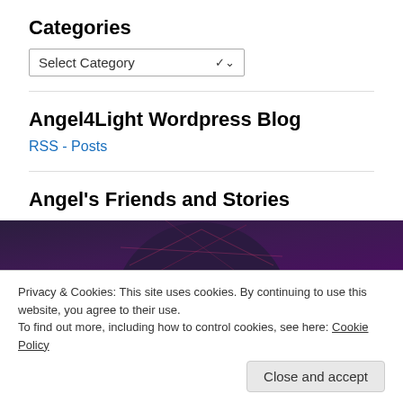Categories
Select Category
Angel4Light Wordpress Blog
RSS - Posts
Angel's Friends and Stories
[Figure (photo): Partial circular image with dark purple geometric pattern background]
Privacy & Cookies: This site uses cookies. By continuing to use this website, you agree to their use.
To find out more, including how to control cookies, see here: Cookie Policy
Close and accept